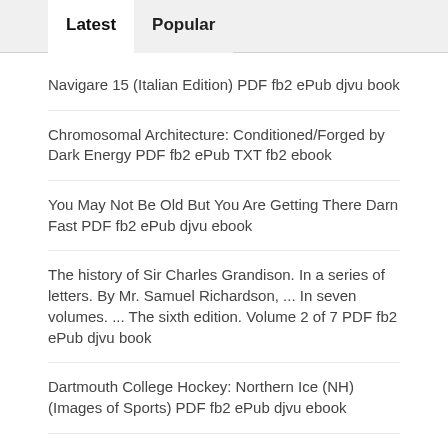Latest | Popular
Navigare 15 (Italian Edition) PDF fb2 ePub djvu book
Chromosomal Architecture: Conditioned/Forged by Dark Energy PDF fb2 ePub TXT fb2 ebook
You May Not Be Old But You Are Getting There Darn Fast PDF fb2 ePub djvu ebook
The history of Sir Charles Grandison. In a series of letters. By Mr. Samuel Richardson, ... In seven volumes. ... The sixth edition. Volume 2 of 7 PDF fb2 ePub djvu book
Dartmouth College Hockey: Northern Ice (NH) (Images of Sports) PDF fb2 ePub djvu ebook
Archiv für Anthropologie. XXIII. Band. (German Edition) PDF Text ePub TXT fb2 ebook
Study on Coordinated Development between Geo-ecological Environment and Economic and its Spatial Database-Take the Analysis of Shandong Peninsula ... Region as An